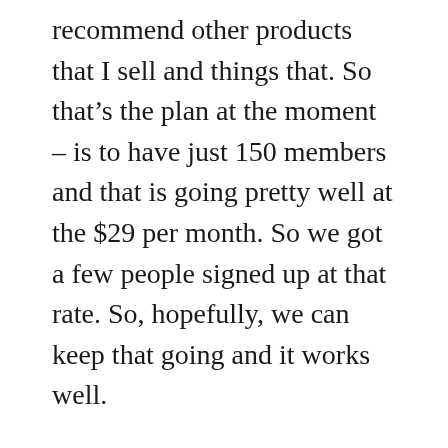recommend other products that I sell and things that. So that's the plan at the moment – is to have just 150 members and that is going pretty well at the $29 per month. So we got a few people signed up at that rate. So, hopefully, we can keep that going and it works well.
I was talking about where I want to be in 3 years and something that me and my wife have been about was to buy a camper van and to be able to go on holidays and stuff like that.